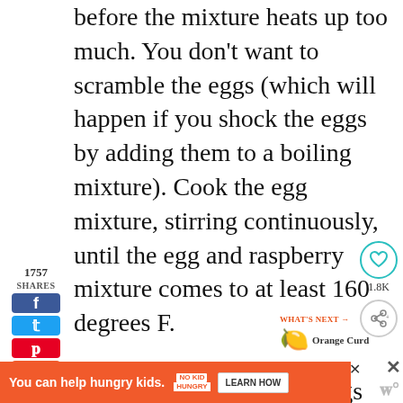before the mixture heats up too much. You don't want to scramble the eggs (which will happen if you shock the eggs by adding them to a boiling mixture). Cook the egg mixture, stirring continuously, until the egg and raspberry mixture comes to at least 160 degrees F.
Add the butter once the eggs are fully cooked to a safe temperature with a wooden spoon or rubber
1757 SHARES
1.8K
WHAT'S NEXT → Orange Curd
You can help hungry kids. NO KID HUNGRY LEARN HOW